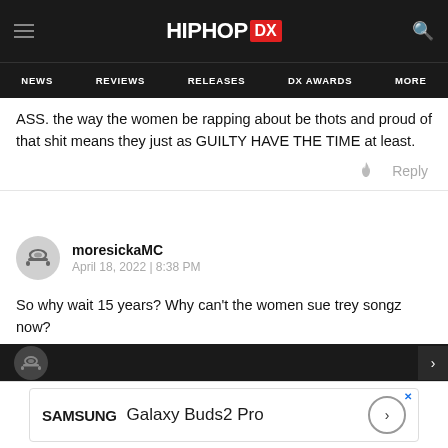HIPHOP DX — NEWS | REVIEWS | RELEASES | DX AWARDS | MORE
ASS. the way the women be rapping about be thots and proud of that shit means they just as GUILTY HAVE THE TIME at least.
moresickaMC
April 18, 2022 | 8:38 PM
So why wait 15 years? Why can't the women sue trey songz now?
[Figure (screenshot): Samsung Galaxy Buds2 Pro advertisement banner at bottom of page]